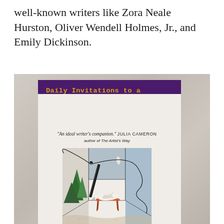well-known writers like Zora Neale Hurston, Oliver Wendell Holmes, Jr., and Emily Dickinson.
[Figure (photo): A photograph of a book titled 'Daily Invitations to a Writer's Life' with a purple header band and gold title text in monospace font. Below the title is a quote reading 'An ideal writer's companion.' Julia Cameron, author of The Artist's Way. The book cover illustration shows a drawing of a pen/fountain pen standing upright on a desk, with paper on the desk, trees on the left side, a night sky with crescent moon at top, and a flowing line/ribbon extending to the right. The book is photographed on a marble surface.]